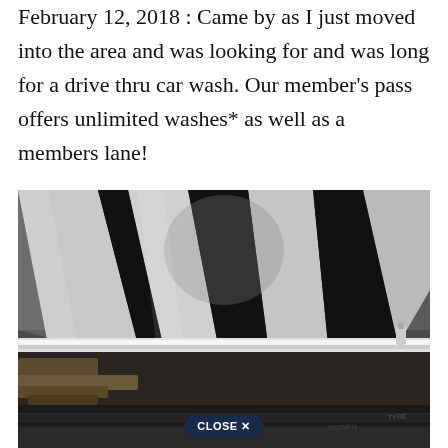February 12, 2018 : Came by as I just moved into the area and was looking for and was long for a drive thru car wash. Our member's pass offers unlimited washes* as well as a members lane!
[Figure (photo): Close-up photograph of a dirty car wheel/rim showing a chrome alloy wheel with mud and grime on the tire sidewall and rim edge. A tire valve stem is visible on the right side. A 'CLOSE X' button overlay appears at the bottom center of the image.]